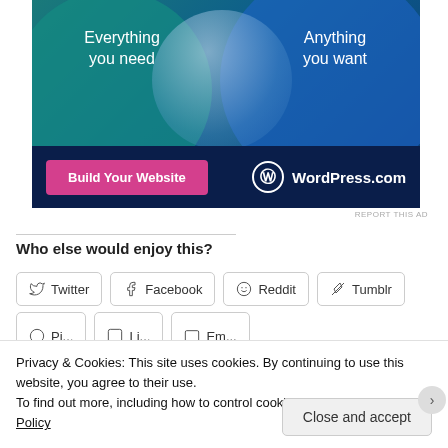[Figure (illustration): WordPress.com advertisement banner with two overlapping circles on a dark teal and blue gradient background. Left circle area text: 'Everything you need'. Right circle area text: 'Anything you want'. Bottom dark navy bar with a pink 'Build Your Website' button and WordPress.com logo.]
REPORT THIS AD
Who else would enjoy this?
Twitter  Facebook  Reddit  Tumblr
Privacy & Cookies: This site uses cookies. By continuing to use this website, you agree to their use.
To find out more, including how to control cookies, see here: Cookie Policy
Close and accept